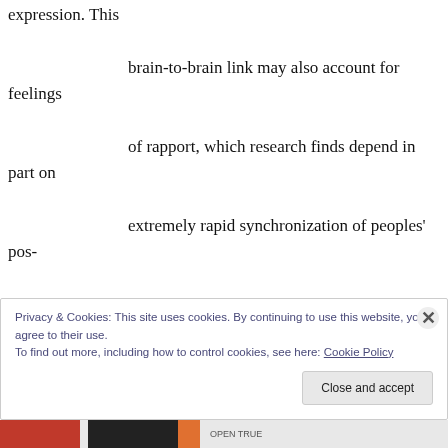expression. This brain-to-brain link may also account for feelings of rapport, which research finds depend in part on extremely rapid synchronization of peoples' posture, vocal pacing and movements as they interact.
Privacy & Cookies: This site uses cookies. By continuing to use this website, you agree to their use. To find out more, including how to control cookies, see here: Cookie Policy